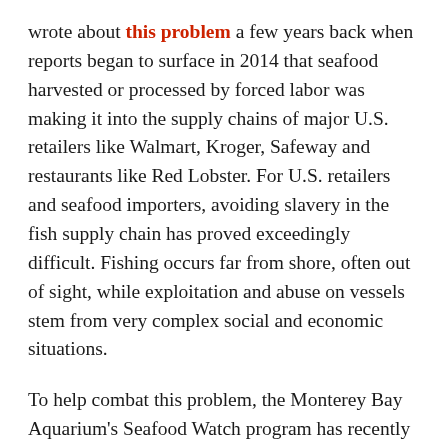wrote about this problem a few years back when reports began to surface in 2014 that seafood harvested or processed by forced labor was making it into the supply chains of major U.S. retailers like Walmart, Kroger, Safeway and restaurants like Red Lobster. For U.S. retailers and seafood importers, avoiding slavery in the fish supply chain has proved exceedingly difficult. Fishing occurs far from shore, often out of sight, while exploitation and abuse on vessels stem from very complex social and economic situations.
To help combat this problem, the Monterey Bay Aquarium's Seafood Watch program has recently unveiled a new Seafood Slavery Risk Tool. It's a database designed to help corporate seafood buyers assess the risk of slavery, human trafficking and hazardous child labor in the seafood they purchase, and therefore put pressure on fisheries to reduce these